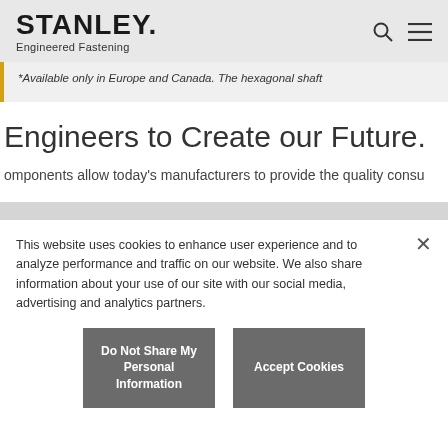STANLEY. Engineered Fastening
*Available only in Europe and Canada. The hexagonal shaft
Engineers to Create our Future.
omponents allow today's manufacturers to provide the quality consu
This website uses cookies to enhance user experience and to analyze performance and traffic on our website. We also share information about your use of our site with our social media, advertising and analytics partners.
Do Not Share My Personal Information
Accept Cookies